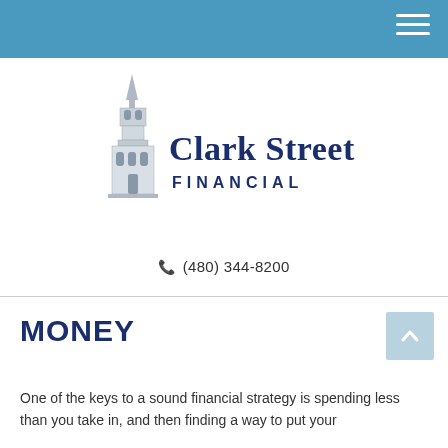[Figure (logo): Clark Street Financial logo with a church steeple illustration on the left, and the text 'Clark Street FINANCIAL' in dark navy blue serif font on the right.]
(480) 344-8200
MONEY
One of the keys to a sound financial strategy is spending less than you take in, and then finding a way to put your